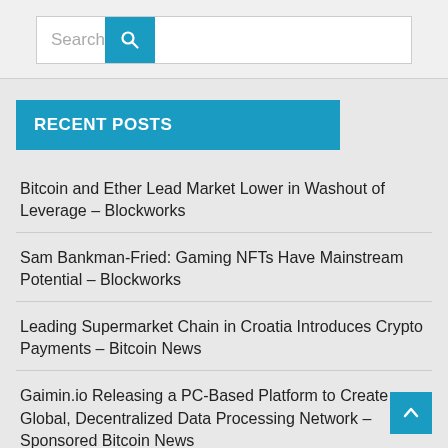Search
RECENT POSTS
Bitcoin and Ether Lead Market Lower in Washout of Leverage – Blockworks
Sam Bankman-Fried: Gaming NFTs Have Mainstream Potential – Blockworks
Leading Supermarket Chain in Croatia Introduces Crypto Payments – Bitcoin News
Gaimin.io Releasing a PC-Based Platform to Create a Global, Decentralized Data Processing Network – Sponsored Bitcoin News